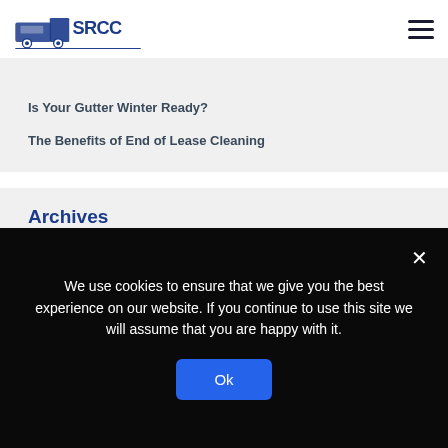SRCC logo and navigation
Is Your Gutter Winter Ready?
The Benefits of End of Lease Cleaning
Archives
February 2022
January 2022
December 2021 (partial)
We use cookies to ensure that we give you the best experience on our website. If you continue to use this site we will assume that you are happy with it.